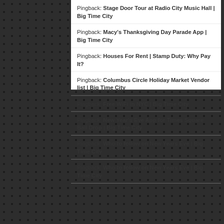Pingback: Stage Door Tour at Radio City Music Hall | Big Time City
Pingback: Macy's Thanksgiving Day Parade App | Big Time City
Pingback: Houses For Rent | Stamp Duty: Why Pay It?
Pingback: Columbus Circle Holiday Market Vendor list | Big Time City
Pingback: Free WiFi in NYC | Big Time City
Pingback: New Year's Eve App for Times Square Ball Drop | Big Time City
Pingback: Who to follow on New Years Eve | Big Time City
Pingback: Who to follow on New Years Eve | Big Time City